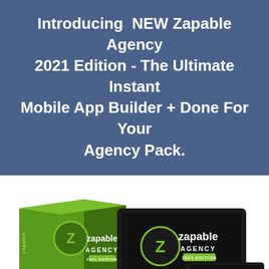Introducing NEW Zapable Agency 2021 Edition - The Ultimate Instant Mobile App Builder + Done For Your Agency Pack.
[Figure (illustration): Product mockup showing Zapable Agency 2021 Edition software box and multiple device screens (desktop monitor, laptop, tablet, mobile phone) all displaying the Zapable Agency 2021 Edition branding with green and dark color scheme.]